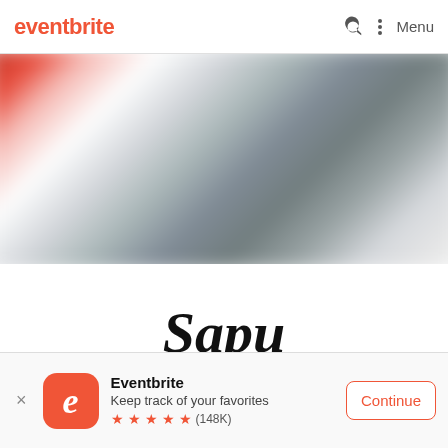eventbrite
[Figure (photo): Blurred banner image with red and grey tones, likely a blurred event photo]
[Figure (logo): Sapu Community logo — cursive 'Sapu' script above 'COMMUN' text with underline]
Eventbrite
Keep track of your favorites
★★★★★ (148K)
Continue